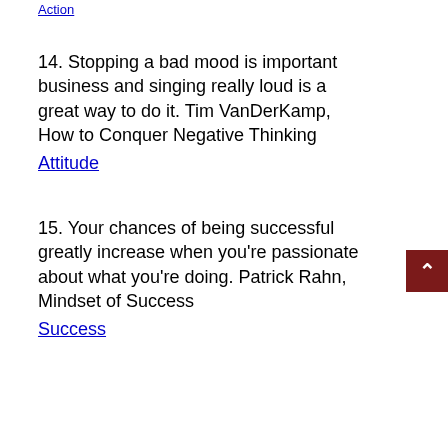Action
14. Stopping a bad mood is important business and singing really loud is a great way to do it. Tim VanDerKamp, How to Conquer Negative Thinking
Attitude
15. Your chances of being successful greatly increase when you're passionate about what you're doing. Patrick Rahn, Mindset of Success
Success